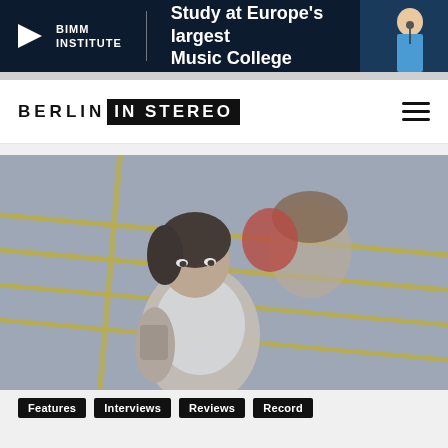[Figure (photo): BIMM Institute advertisement banner with dark navy background, logo with triangle icon and BIMM INSTITUTE text, tagline 'Study at Europe's largest Music College', and a photo of a female musician singing into a microphone on the right]
[Figure (logo): Berlin In Stereo website logo — BERLIN in black letters followed by IN STEREO in white text on black rectangle background — with hamburger menu icon on the right]
[Figure (photo): Hero photo showing two young people in what appears to be a boxing ring with ropes; the foreground figure is a woman with tattoos in a white top looking intensely at the camera, behind her is a young man with curly hair; the image has a muted, slightly desaturated look]
Features
Interviews
Reviews
Record